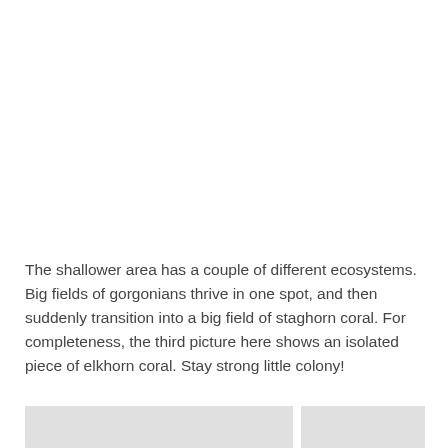The shallower area has a couple of different ecosystems. Big fields of gorgonians thrive in one spot, and then suddenly transition into a big field of staghorn coral. For completeness, the third picture here shows an isolated piece of elkhorn coral. Stay strong little colony!
[Figure (photo): Two partially visible photos of coral ecosystems at the bottom of the page]